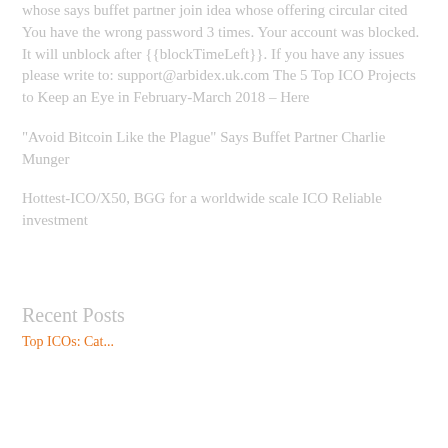whose says buffet partner join idea whose offering circular cited You have the wrong password 3 times. Your account was blocked. It will unblock after {{blockTimeLeft}}. If you have any issues please write to: support@arbidex.uk.com The 5 Top ICO Projects to Keep an Eye in February-March 2018 – Here
“Avoid Bitcoin Like the Plague” Says Buffet Partner Charlie Munger
Hottest-ICO/X50, BGG for a worldwide scale ICO Reliable investment
Recent Posts
Top ICOs: Category...